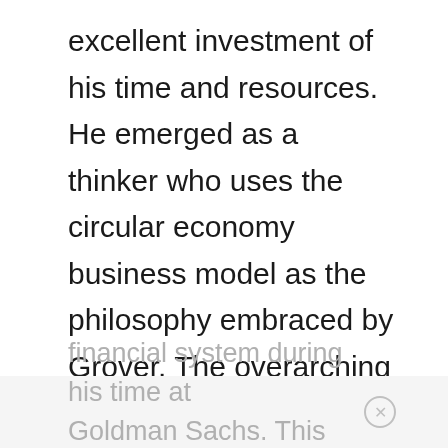excellent investment of his time and resources. He emerged as a thinker who uses the circular economy business model as the philosophy embraced by Grover. The overarching goals of Grover and Cassau are to provide consumers with more affordable access to tech goods that are as affordable as possible. Rentals seemed a viable option that allows consumers to pay a monthly fee for the use of technology. He shared that he learned about the mechanics of the
financial system during his time at Goldman Sachs. This led him to a th